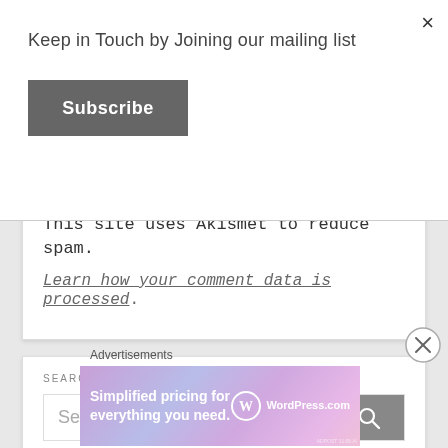×
Keep in Touch by Joining our mailing list
Subscribe
This site uses Akismet to reduce spam.
Learn how your comment data is processed.
SEARCH THIS SITE
Search ...
Advertisements
[Figure (infographic): WordPress.com advertisement banner: 'Simplified pricing for everything you need.' with WordPress.com logo on gradient purple/blue background]